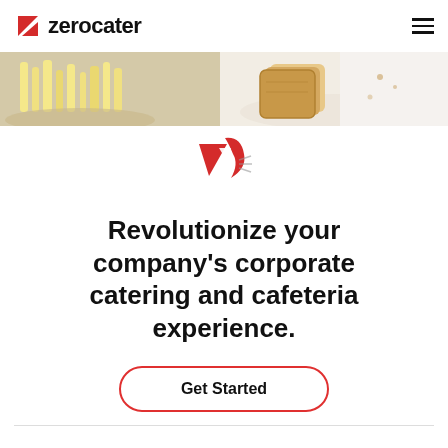zerocater
[Figure (photo): Hero image strip showing food items including french fries and toast/bread on a white background]
[Figure (logo): Zerocater brand icon — a stylized red bird/lightning bolt mark]
Revolutionize your company's corporate catering and cafeteria experience.
Get Started